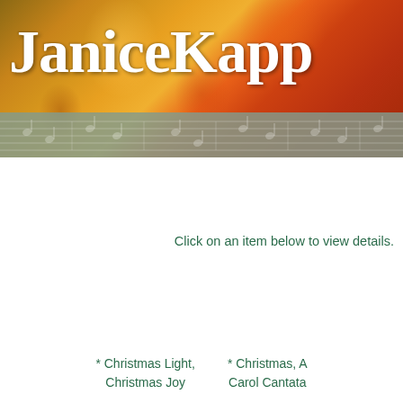[Figure (illustration): Banner header image with autumn/fall colored background (orange, red, yellow tones resembling gourds or pumpkins) with white cursive text reading 'JaniceKapp' partially visible, and a music staff strip at the bottom of the banner]
Click on an item below to view details.
* Christmas Light, Christmas Joy
* Christmas, A Carol Cantata